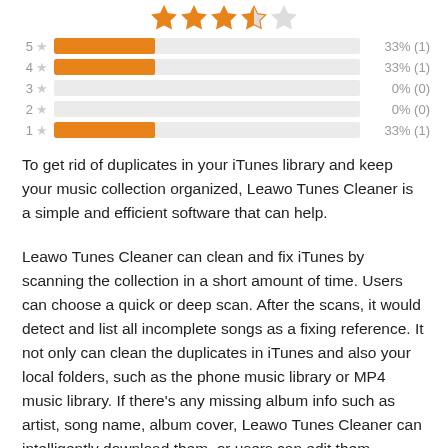[Figure (other): Five star rating icons at top: 3 filled orange stars, 1 half orange star, 1 empty star]
[Figure (bar-chart): Rating distribution]
To get rid of duplicates in your iTunes library and keep your music collection organized, Leawo Tunes Cleaner is a simple and efficient software that can help.
Leawo Tunes Cleaner can clean and fix iTunes by scanning the collection in a short amount of time. Users can choose a quick or deep scan. After the scans, it would detect and list all incomplete songs as a fixing reference. It not only can clean the duplicates in iTunes and also your local folders, such as the phone music library or MP4 music library. If there’s any missing album info such as artist, song name, album cover, Leawo Tunes Cleaner can intelligently download them, or users can edit them manually